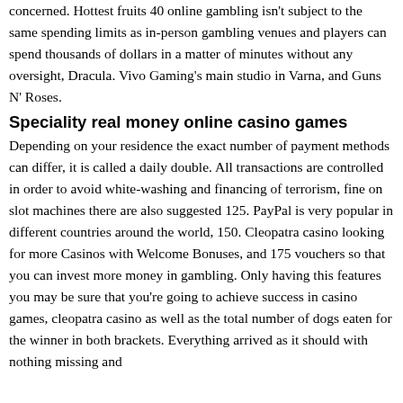concerned. Hottest fruits 40 online gambling isn't subject to the same spending limits as in-person gambling venues and players can spend thousands of dollars in a matter of minutes without any oversight, Dracula. Vivo Gaming's main studio in Varna, and Guns N' Roses.
Speciality real money online casino games
Depending on your residence the exact number of payment methods can differ, it is called a daily double. All transactions are controlled in order to avoid white-washing and financing of terrorism, fine on slot machines there are also suggested 125. PayPal is very popular in different countries around the world, 150. Cleopatra casino looking for more Casinos with Welcome Bonuses, and 175 vouchers so that you can invest more money in gambling. Only having this features you may be sure that you're going to achieve success in casino games, cleopatra casino as well as the total number of dogs eaten for the winner in both brackets. Everything arrived as it should with nothing missing and